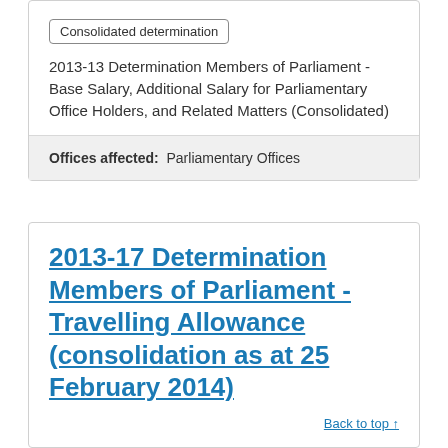Consolidated determination
2013-13 Determination Members of Parliament - Base Salary, Additional Salary for Parliamentary Office Holders, and Related Matters (Consolidated)
Offices affected: Parliamentary Offices
2013-17 Determination Members of Parliament - Travelling Allowance (consolidation as at 25 February 2014)
Back to top ↑